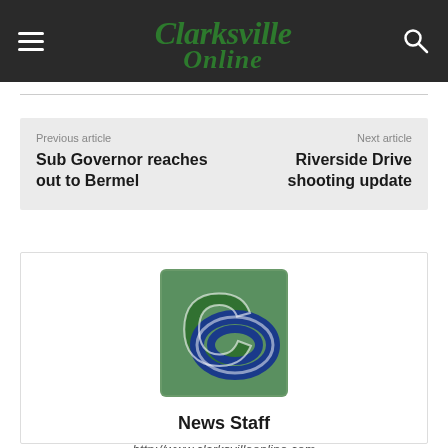Clarksville Online
Previous article
Sub Governor reaches out to Bermel
Next article
Riverside Drive shooting update
[Figure (logo): Clarksville Online logo: green C with blue overlapping O]
News Staff
http://www.clarksvilleonline.com